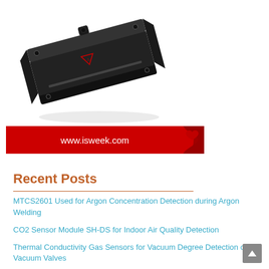[Figure (photo): Black rectangular electronic sensor device/module, shown at a slight angle, with a small knob on top and mounting holes on the corners.]
[Figure (logo): Red banner with white text 'www.isweek.com' and a dark red heart/notch shape on the right side.]
Recent Posts
MTCS2601 Used for Argon Concentration Detection during Argon Welding
CO2 Sensor Module SH-DS for Indoor Air Quality Detection
Thermal Conductivity Gas Sensors for Vacuum Degree Detection of Vacuum Valves